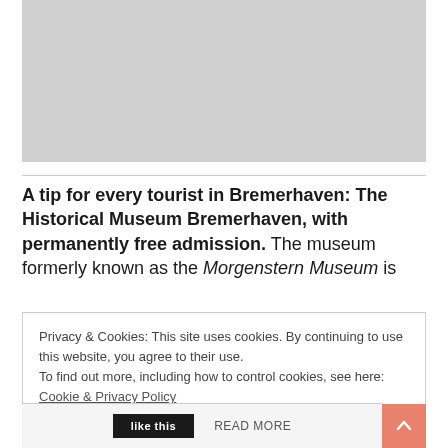[Figure (photo): Gray placeholder image area at the top of the page]
A tip for every tourist in Bremerhaven: The Historical Museum Bremerhaven, with permanently free admission. The museum formerly known as the Morgenstern Museum is
Privacy & Cookies: This site uses cookies. By continuing to use this website, you agree to their use.
To find out more, including how to control cookies, see here: Cookie & Privacy Policy
Close and accept